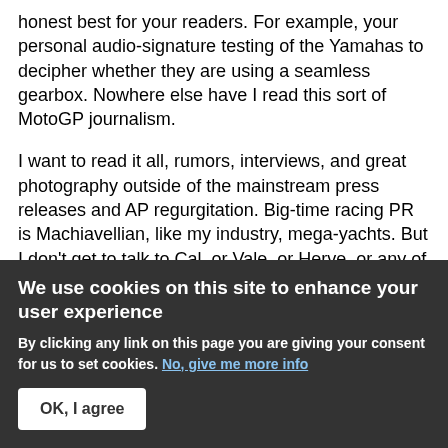honest best for your readers. For example, your personal audio-signature testing of the Yamahas to decipher whether they are using a seamless gearbox. Nowhere else have I read this sort of MotoGP journalism.
I want to read it all, rumors, interviews, and great photography outside of the mainstream press releases and AP regurgitation. Big-time racing PR is Machiavellian, like my industry, mega-yachts. But I don't get to talk to Cal, or Vale, or Herve, or any of the others I am so fascinated and entertained by, so I'll listen to your honest best. Cheers!
Oh, and if you had some t-shirts in other than black with
We use cookies on this site to enhance your user experience
By clicking any link on this page you are giving your consent for us to set cookies. No, give me more info
OK, I agree